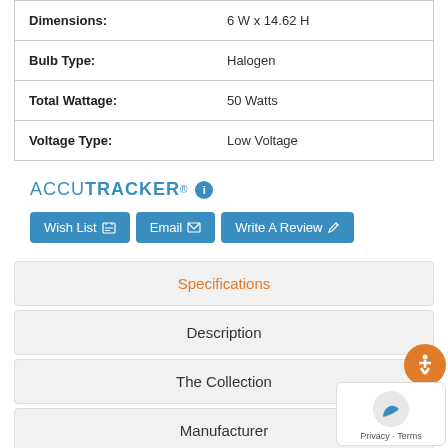| Property | Value |
| --- | --- |
| Dimensions: | 6 W x 14.62 H |
| Bulb Type: | Halogen |
| Total Wattage: | 50 Watts |
| Voltage Type: | Low Voltage |
[Figure (logo): ACCUTRACKER logo with info icon]
Wish List | Email | Write A Review
Specifications
Description
The Collection
Manufacturer
Product Specifications